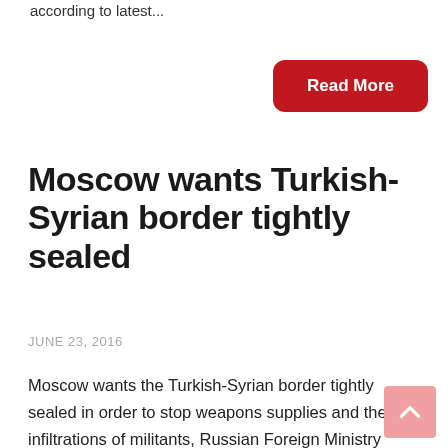according to latest...
Read More
Moscow wants Turkish-Syrian border tightly sealed
JUNE 23, 2016
Moscow wants the Turkish-Syrian border tightly sealed in order to stop weapons supplies and the infiltrations of militants, Russian Foreign Ministry spokeswoman Maria Zakharova told a news briefing on Thursday (June 23). "There have been